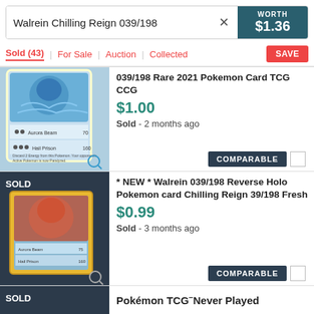Walrein Chilling Reign 039/198 | WORTH $1.36
Sold (43) | For Sale | Auction | Collected | SAVE
[Figure (screenshot): Walrein 039/198 Rare 2021 Pokemon Card TCG CCG listing thumbnail - blue Pokemon card]
039/198 Rare 2021 Pokemon Card TCG CCG
$1.00
Sold - 2 months ago
COMPARABLE
[Figure (screenshot): Walrein 039/198 Reverse Holo Pokemon card listing thumbnail with SOLD badge]
* NEW * Walrein 039/198 Reverse Holo Pokemon card Chilling Reign 39/198 Fresh
$0.99
Sold - 3 months ago
COMPARABLE
[Figure (screenshot): Third listing thumbnail - partially visible, shows SOLD badge]
Pokémon TCG Never Played